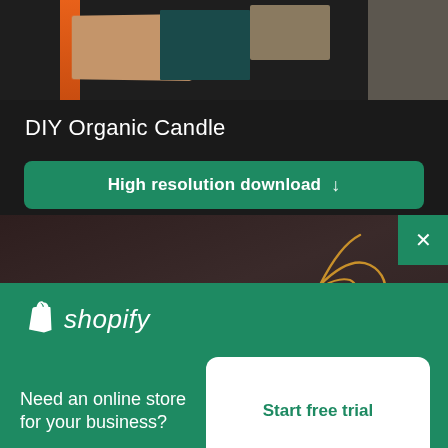[Figure (photo): Photo of stacked books on a dark teal surface with an orange stripe on one book spine, partially cropped at top]
DIY Organic Candle
High resolution download ↓
[Figure (photo): Photo of decorative cushions (white/cream and yellow) with abstract wire art on a dark background, with a green X close button in top right]
[Figure (logo): Shopify logo with shopping bag icon and italic shopify wordmark in white on green background]
Need an online store for your business?
Start free trial